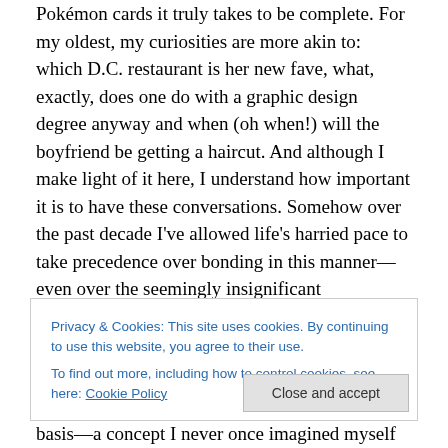Pokémon cards it truly takes to be complete. For my oldest, my curiosities are more akin to: which D.C. restaurant is her new fave, what, exactly, does one do with a graphic design degree anyway and when (oh when!) will the boyfriend be getting a haircut. And although I make light of it here, I understand how important it is to have these conversations. Somehow over the past decade I've allowed life's harried pace to take precedence over bonding in this manner—even over the seemingly insignificant happenings of life, which is precisely what I wish to change.
Privacy & Cookies: This site uses cookies. By continuing to use this website, you agree to their use.
To find out more, including how to control cookies, see here: Cookie Policy
Close and accept
basis—a concept I never once imagined myself